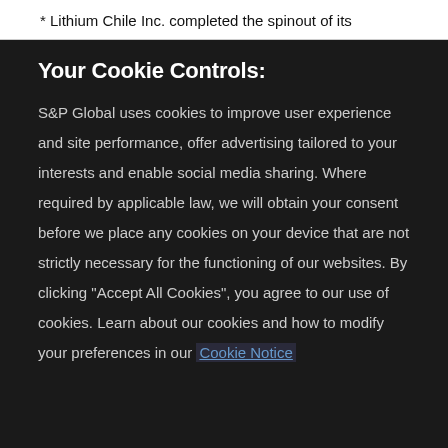* Lithium Chile Inc. completed the spinout of its
Your Cookie Controls:
S&P Global uses cookies to improve user experience and site performance, offer advertising tailored to your interests and enable social media sharing. Where required by applicable law, we will obtain your consent before we place any cookies on your device that are not strictly necessary for the functioning of our websites. By clicking "Accept All Cookies", you agree to our use of cookies. Learn about our cookies and how to modify your preferences in our Cookie Notice